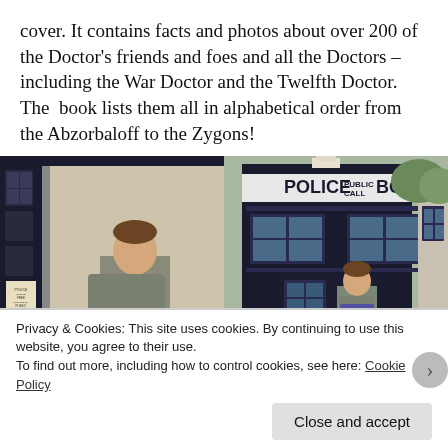cover. It contains facts and photos about over 200 of the Doctor's friends and foes and all the Doctors – including the War Doctor and the Twelfth Doctor. The book lists them all in alphabetical order from the Abzorbaloff to the Zygons!
[Figure (photo): Two side-by-side photos of a boy standing inside a TARDIS police box prop, reading a Doctor Who book. Left photo shows view from inside the open TARDIS door. Right photo shows the exterior view with 'POLICE PUBLIC CALL BOX' sign visible above.]
Privacy & Cookies: This site uses cookies. By continuing to use this website, you agree to their use.
To find out more, including how to control cookies, see here: Cookie Policy
Close and accept